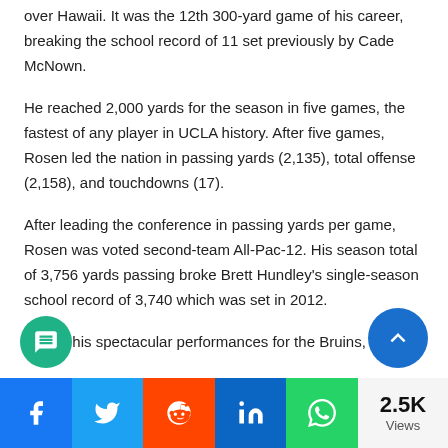over Hawaii. It was the 12th 300-yard game of his career, breaking the school record of 11 set previously by Cade McNown.
He reached 2,000 yards for the season in five games, the fastest of any player in UCLA history. After five games, Rosen led the nation in passing yards (2,135), total offense (2,158), and touchdowns (17).
After leading the conference in passing yards per game, Rosen was voted second-team All-Pac-12. His season total of 3,756 yards passing broke Brett Hundley's single-season school record of 3,740 which was set in 2012.
Due to his spectacular performances for the Bruins, Rosen